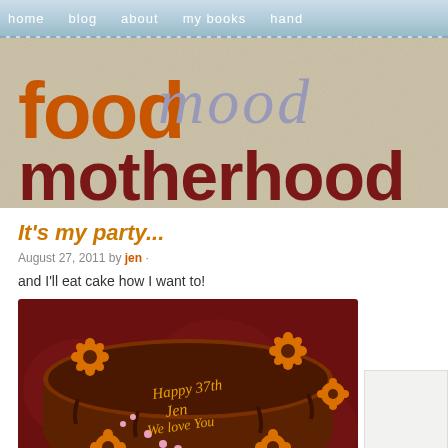home  blog  about  my books  hand
[Figure (illustration): Blog header banner with 'food mood motherhood' branding. 'food' in orange bold, 'mood' in light purple italic script, 'motherhood' in dark red bold, on a textured beige background.]
It's my party...
August 27, 2011 by jen ·
and I'll eat cake how I want to!
[Figure (photo): A chocolate birthday cake with orange flower decorations and pink accents. Yellow icing reads 'Happy 37th Jen We love You'. Dark red background.]